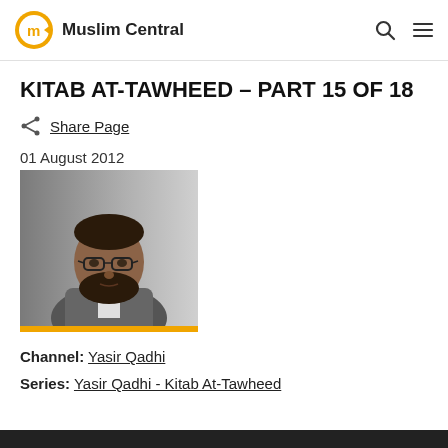Muslim Central
KITAB AT-TAWHEED – PART 15 OF 18
Share Page
01 August 2012
[Figure (photo): Portrait photo of Yasir Qadhi, a bearded man with glasses wearing a grey jacket, against a light grey background.]
Channel: Yasir Qadhi
Series: Yasir Qadhi - Kitab At-Tawheed